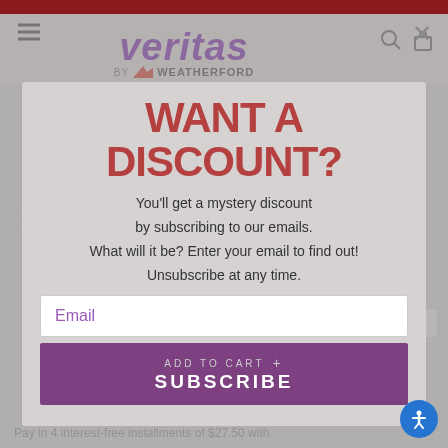[Figure (logo): Veritas by Weatherford brand logo with purple italic text and eagle/wing icon]
WANT A DISCOUNT?
You'll get a mystery discount by subscribing to our emails. What will it be? Enter your email to find out! Unsubscribe at any time.
Email
ADD TO CART  SUBSCRIBE
Pay in 4 interest-free installments of $27.50 with